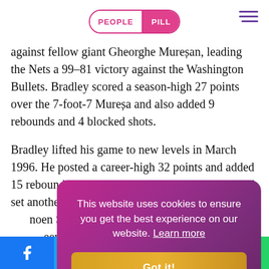PEOPLE PILL
against fellow giant Gheorghe Mureșan, leading the Nets a 99–81 victory against the Washington Bullets. Bradley scored a season-high 27 points over the 7-foot-7 Mureșa and also added 9 rebounds and 4 blocked shots.
Bradley lifted his game to new levels in March 1996. He posted a career-high 32 points and added 15 rebounds against Dallas early in the month, and set another career-high a week later against the Phoenix Suns. He recorded very next game, to career- 11 blocked shots and the Bullets...
[Figure (other): Cookie consent banner overlay with text: 'This website uses cookies to ensure you get the best experience on our website. Learn more' and a 'Got it!' button]
Social sharing bar: Facebook, Twitter, Reddit, LinkedIn, WhatsApp